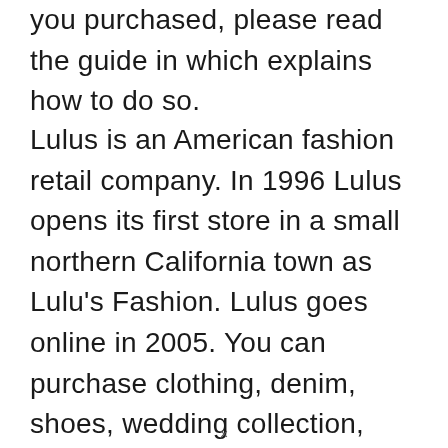you purchased, please read the guide in which explains how to do so.
Lulus is an American fashion retail company. In 1996 Lulus opens its first store in a small northern California town as Lulu's Fashion. Lulus goes online in 2005. You can purchase clothing, denim, shoes, wedding collection, dresses, and much more.
×